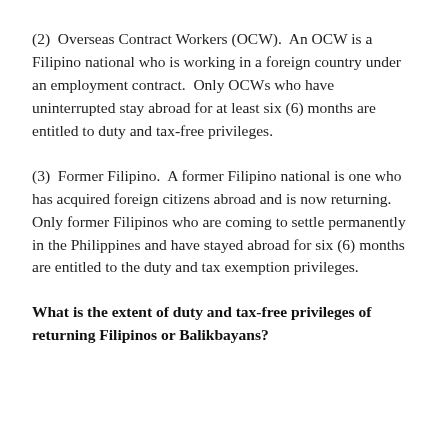(2)  Overseas Contract Workers (OCW).  An OCW is a Filipino national who is working in a foreign country under an employment contract.  Only OCWs who have uninterrupted stay abroad for at least six (6) months are entitled to duty and tax-free privileges.
(3)  Former Filipino.  A former Filipino national is one who has acquired foreign citizens abroad and is now returning.  Only former Filipinos who are coming to settle permanently in the Philippines and have stayed abroad for six (6) months are entitled to the duty and tax exemption privileges.
What is the extent of duty and tax-free privileges of returning Filipinos or Balikbayans?